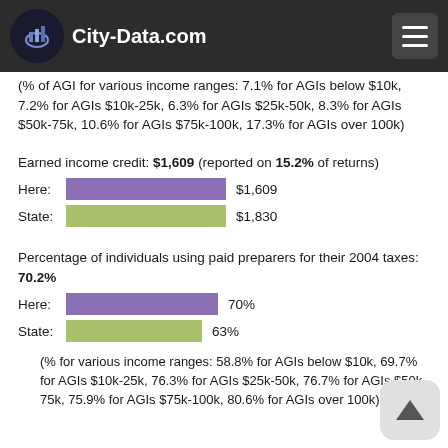City-Data.com
(% of AGI for various income ranges: 7.1% for AGIs below $10k, 7.2% for AGIs $10k-25k, 6.3% for AGIs $25k-50k, 8.3% for AGIs $50k-75k, 10.6% for AGIs $75k-100k, 17.3% for AGIs over 100k)
Earned income credit: $1,609 (reported on 15.2% of returns)
[Figure (bar-chart): Earned income credit comparison]
Percentage of individuals using paid preparers for their 2004 taxes: 70.2%
[Figure (bar-chart): Paid preparers percentage comparison]
(% for various income ranges: 58.8% for AGIs below $10k, 69.7% for AGIs $10k-25k, 76.3% for AGIs $25k-50k, 76.7% for AGIs $50k-75k, 75.9% for AGIs $75k-100k, 80.6% for AGIs over 100k)